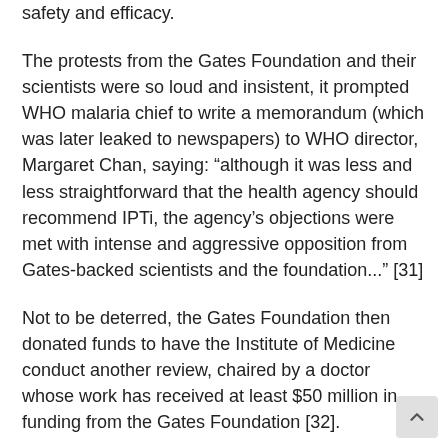safety and efficacy.
The protests from the Gates Foundation and their scientists were so loud and insistent, it prompted WHO malaria chief to write a memorandum (which was later leaked to newspapers) to WHO director, Margaret Chan, saying: “although it was less and less straightforward that the health agency should recommend IPTi, the agency’s objections were met with intense and aggressive opposition from Gates-backed scientists and the foundation...” [31]
Not to be deterred, the Gates Foundation then donated funds to have the Institute of Medicine conduct another review, chaired by a doctor whose work has received at least $50 million in funding from the Gates Foundation [32].
Predictably enough, the IOM review concluded that “an intervention with results of this magnitude is worthy of